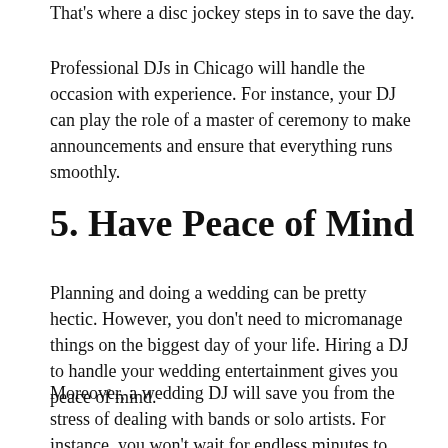That's where a disc jockey steps in to save the day.
Professional DJs in Chicago will handle the occasion with experience. For instance, your DJ can play the role of a master of ceremony to make announcements and ensure that everything runs smoothly.
5. Have Peace of Mind
Planning and doing a wedding can be pretty hectic. However, you don't need to micromanage things on the biggest day of your life. Hiring a DJ to handle your wedding entertainment gives you peace of mind.
Moreover, a wedding DJ will save you from the stress of dealing with bands or solo artists. For instance, you won't wait for endless minutes to transition to the next song. You also won't deal with artists that develop sore throats when